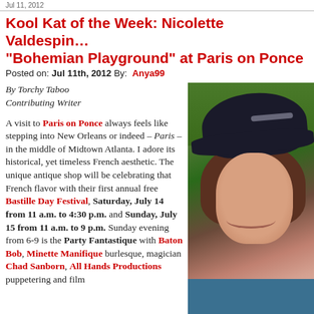Jul 11, 2012
Kool Kat of the Week: Nicolette Valdespin… "Bohemian Playground" at Paris on Ponce
Posted on: Jul 11th, 2012 By: Anya99
By Torchy Taboo
Contributing Writer
A visit to Paris on Ponce always feels like stepping into New Orleans or indeed – Paris – in the middle of Midtown Atlanta. I adore its historical, yet timeless French aesthetic. The unique antique shop will be celebrating that French flavor with their first annual free Bastille Day Festival, Saturday, July 14 from 11 a.m. to 4:30 p.m. and Sunday, July 15 from 11 a.m. to 9 p.m. Sunday evening from 6-9 is the Party Fantastique with Baton Bob, Minette Manifique burlesque, magician Chad Sanborn, All Hands Productions puppetering and film
[Figure (photo): Photo of Nicolette Valdespin wearing a black hat, smiling, outdoors with green grass in background and blue scarf]